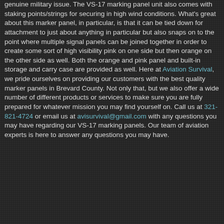genuine military issue. The VS-17 marking panel unit also comes with staking points/strings for securing in high wind conditions. What's great about this marker panel, in particular, is that it can be tied down for attachment to just about anything in particular but also snaps on to the point where multiple signal panels can be joined together in order to create some sort of high visibility pink on one side but then orange on the other side as well. Both the orange and pink panel and built-in storage and carry case are provided as well. Here at Aviation Survival, we pride ourselves on providing our customers with the best quality marker panels in Brevard County. Not only that, but we also offer a wide number of different products or services to make sure you are fully prepared for whatever mission you may find yourself on. Call us at 321-821-4724 or email us at avisurvival@gmail.com with any questions you may have regarding our VS-17 marking panels. Our team of aviation experts is here to answer any questions you may have.